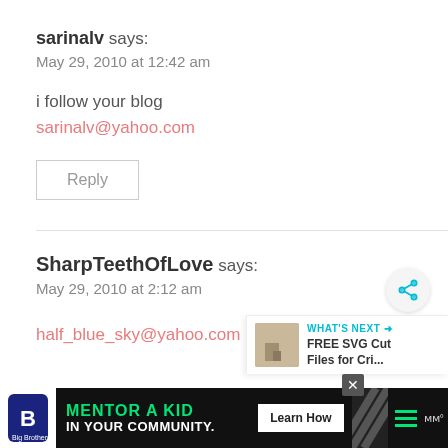sarinalv says:
May 29, 2010 at 12:42 am
i follow your blog
sarinalv@yahoo.com
Reply
SharpTeethOfLove says:
May 29, 2010 at 2:12 am
half_blue_sky@yahoo.com
[Figure (screenshot): Advertisement banner: Big Brothers Big Sisters - Mentor a Kid in Your Community - Learn How button]